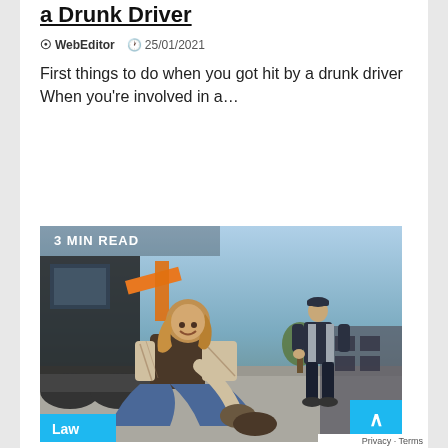a Drunk Driver
@ WebEditor   25/01/2021
First things to do when you got hit by a drunk driver When you're involved in a…
Read More
[Figure (photo): Woman sitting on ground holding her ankle/foot in pain, with a man standing behind near a large tractor/construction vehicle. Outdoor industrial setting with blue sky. Badge reads '3 MIN READ' top-left and 'Law' bottom-left.]